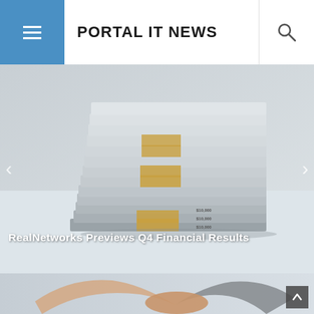PORTAL IT NEWS
[Figure (photo): Stack of bundled US dollar bills on a light surface]
RealNetworks Previews Q4 Financial Results
[Figure (photo): Two people shaking hands in a business setting]